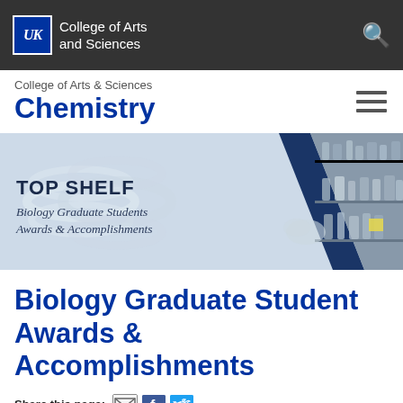UK College of Arts and Sciences
College of Arts & Sciences
Chemistry
[Figure (illustration): Banner image showing TOP SHELF: Biology Graduate Students Awards & Accomplishments, with a DNA helix on the left and lab bottles/shelves on the right]
Biology Graduate Student Awards & Accomplishments
Share this page: